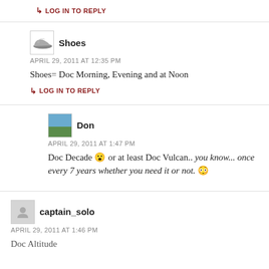↳ LOG IN TO REPLY
Shoes
APRIL 29, 2011 AT 12:35 PM
Shoes= Doc Morning, Evening and at Noon
↳ LOG IN TO REPLY
Don
APRIL 29, 2011 AT 1:47 PM
Doc Decade 😮 or at least Doc Vulcan.. you know... once every 7 years whether you need it or not. 😳
captain_solo
APRIL 29, 2011 AT 1:46 PM
Doc Altitude